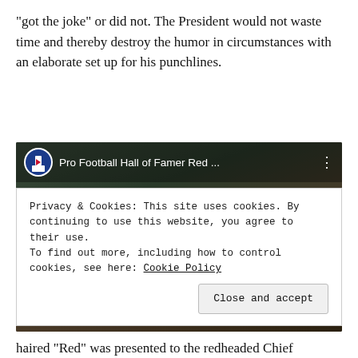“got the joke” or did not. The President would not waste time and thereby destroy the humor in circumstances with an elaborate set up for his punchlines.
[Figure (screenshot): YouTube video thumbnail showing an elderly man outdoors. Video title reads 'Pro Football Hall of Famer Red ...' with a red play button overlay and YouTube/Pro Football Hall of Fame logo.]
Privacy & Cookies: This site uses cookies. By continuing to use this website, you agree to their use.
To find out more, including how to control cookies, see here: Cookie Policy
haired “Red” was presented to the redheaded Chief